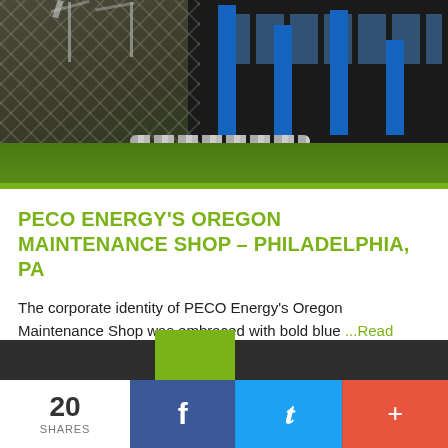[Figure (photo): Exterior photo of PECO Energy's Oregon Maintenance Shop building in Philadelphia, PA. Dark industrial building with blue accent columns, chain-link fence in foreground, green lawn and rocks at base.]
PECO ENERGY'S OREGON MAINTENANCE SHOP – PHILADELPHIA, PA
The corporate identity of PECO Energy's Oregon Maintenance Shop was embraced with bold blue ...Read More